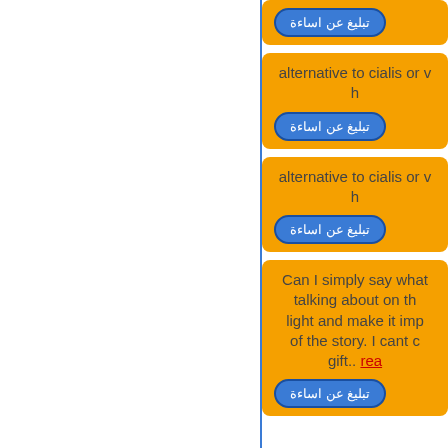[Figure (screenshot): White left panel with blue right border, occupying left ~58% of page]
تبليغ عن اساءة
alternative to cialis or v...
تبليغ عن اساءة
alternative to cialis or v...
تبليغ عن اساءة
Can I simply say what talking about on th light and make it impo of the story. I cant c gift.. rea
تبليغ عن اساءة